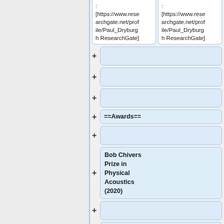: [https://www.researchgate.net/profile/Paul_Dryburgh ResearchGate]
: [https://www.researchgate.net/profile/Paul_Dryburgh ResearchGate]
+ (empty row)
+ (empty row)
+ (empty row)
==Awards==
+ (empty row)
Bob Chivers Prize in Physical Acoustics (2020)
+ (empty row)
"Determining